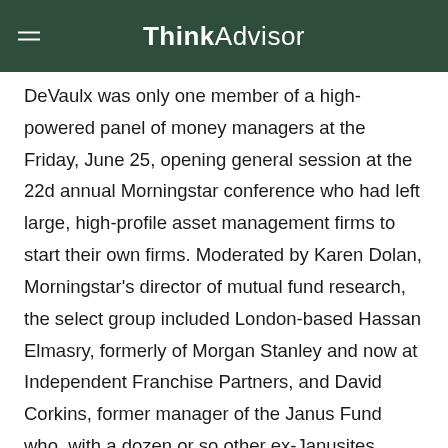ThinkAdvisor
DeVaulx was only one member of a high-powered panel of money managers at the Friday, June 25, opening general session at the 22d annual Morningstar conference who had left large, high-profile asset management firms to start their own firms. Moderated by Karen Dolan, Morningstar's director of mutual fund research, the select group included London-based Hassan Elmasry, formerly of Morgan Stanley and now at Independent Franchise Partners, and David Corkins, former manager of the Janus Fund who, with a dozen or so other ex-Janusites, founded Arrowpoint Partners.